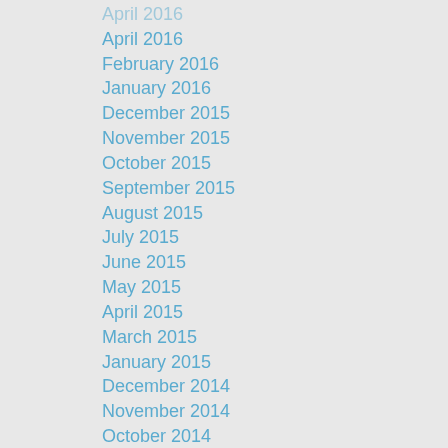April 2016
February 2016
January 2016
December 2015
November 2015
October 2015
September 2015
August 2015
July 2015
June 2015
May 2015
April 2015
March 2015
January 2015
December 2014
November 2014
October 2014
September 2014
August 2014
July 2014